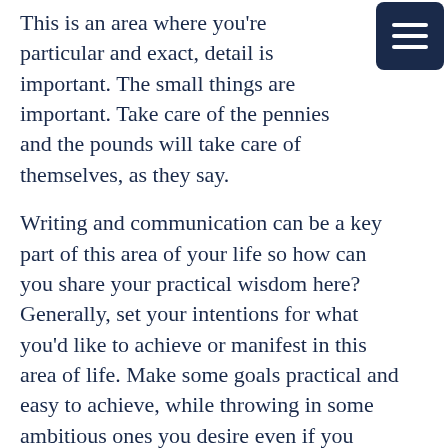This is an area where you're particular and exact, detail is important. The small things are important. Take care of the pennies and the pounds will take care of themselves, as they say.
Writing and communication can be a key part of this area of your life so how can you share your practical wisdom here? Generally, set your intentions for what you'd like to achieve or manifest in this area of life. Make some goals practical and easy to achieve, while throwing in some ambitious ones you desire even if you don't know how it could possibly happen. Let the universe find a way!
Check your birth chart for free at https://astroallstarz.com/birthchart/